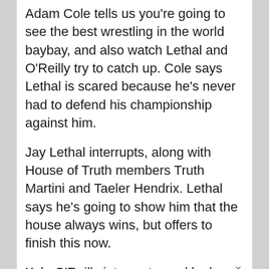Adam Cole tells us you're going to see the best wrestling in the world baybay, and also watch Lethal and O'Reilly try to catch up. Cole says Lethal is scared because he's never had to defend his championship against him.
Jay Lethal interrupts, along with House of Truth members Truth Martini and Taeler Hendrix. Lethal says he's going to show him that the house always wins, but offers to finish this now.
Kyle O'Reilly interrupts, and looks like he's going to say something, but kicks Lethal in